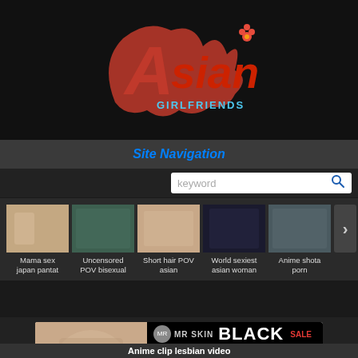[Figure (logo): Asian website logo with red stylized letter A and 'sian' text in red, with small blue subtitle text and a flower icon]
Site Navigation
[Figure (screenshot): Search bar with keyword placeholder text and blue search icon]
[Figure (photo): Thumbnail grid showing 5 video thumbnails with adult content]
Mama sex japan pantat
Uncensored POV bisexual
Short hair POV asian
World sexiest asian woman
Anime shota porn
[Figure (infographic): MR SKIN Black Friday Sale advertisement banner - LIFETIME MEMBERSHIP $99]
Anime clip lesbian video